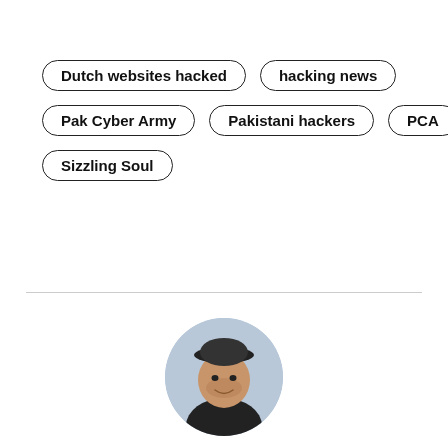Dutch websites hacked
hacking news
Pak Cyber Army
Pakistani hackers
PCA
Sizzling Soul
[Figure (photo): Circular profile photo of a man wearing a dark cap and dark shirt]
Author
WAQAS